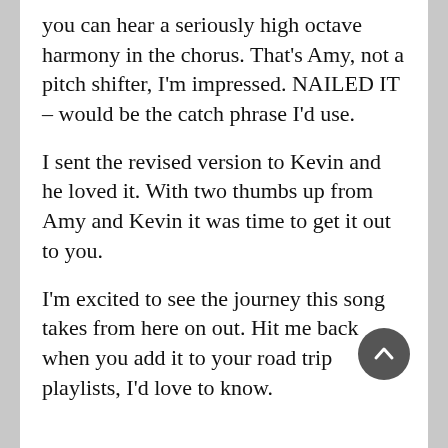you can hear a seriously high octave harmony in the chorus. That's Amy, not a pitch shifter, I'm impressed. NAILED IT – would be the catch phrase I'd use.

I sent the revised version to Kevin and he loved it. With two thumbs up from Amy and Kevin it was time to get it out to you.

I'm excited to see the journey this song takes from here on out. Hit me back when you add it to your road trip playlists, I'd love to know.